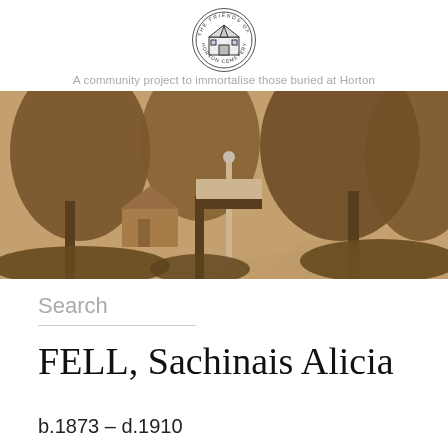[Figure (logo): The Friends of Horton Cemetery circular logo with a church/building illustration and text around the border]
A community project to immortalise those buried at Horton Cemetery
[Figure (photo): Sepia-toned historical photograph of Horton Cemetery showing trees, a signpost, and a building in the background]
Search
FELL, Sachinais Alicia
b.1873 – d.1910